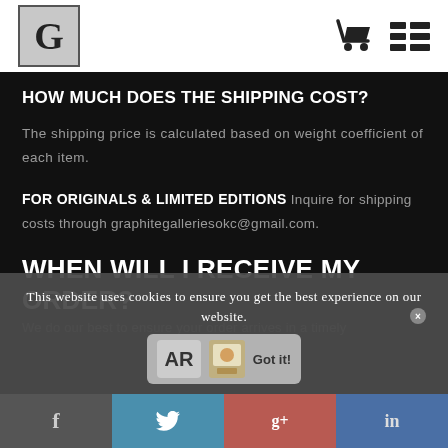G [logo] [cart icon] [menu icon]
HOW MUCH DOES THE SHIPPING COST?
The shipping price is calculated based on weight coefficient of each item.
FOR ORIGINALS & LIMITED EDITIONS Inquire for shipping costs through graphitegalleriesokc@gmail.com.
WHEN WILL I RECEIVE MY ORDER?
We do our best to ensure your order arrives in a timely
This website uses cookies to ensure you get the best experience on our website.